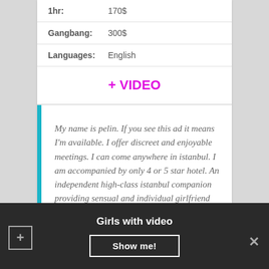| 1hr: | 170$ |
| Gangbang: | 300$ |
| Languages: | English |
+ VIDEO
My name is pelin. If you see this ad it means I'm available. I offer discreet and enjoyable meetings. I can come anywhere in istanbul. I am accompanied by only 4 or 5 star hotel. An independent high-class istanbul companion providing sensual and individual girlfriend experience. I am very entertaining, playful and friendly. I cant wait to fulfil your fantasy.! My only desire is to satisfy you. Now you can just call me or
Girls with video
Show me!